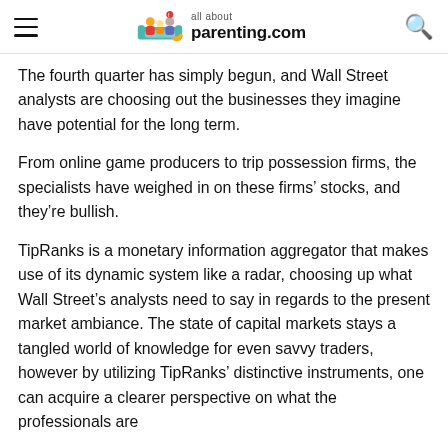all about parenting.com
The fourth quarter has simply begun, and Wall Street analysts are choosing out the businesses they imagine have potential for the long term.
From online game producers to trip possession firms, the specialists have weighed in on these firms' stocks, and they're bullish.
TipRanks is a monetary information aggregator that makes use of its dynamic system like a radar, choosing up what Wall Street's analysts need to say in regards to the present market ambiance. The state of capital markets stays a tangled world of knowledge for even savvy traders, however by utilizing TipRanks' distinctive instruments, one can acquire a clearer perspective on what the professionals are